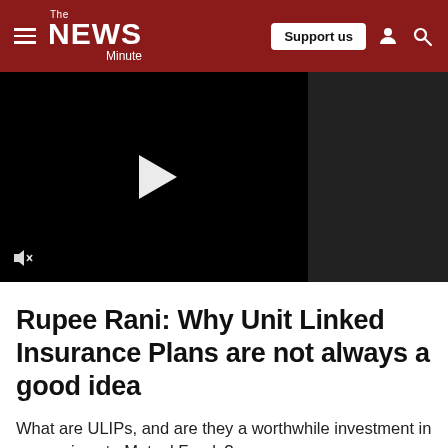The News Minute — Support us
[Figure (screenshot): Video player with black background, white play button triangle in center-left area, mute icon at bottom left, dark gray panel on right side]
Rupee Rani: Why Unit Linked Insurance Plans are not always a good idea
What are ULIPs, and are they a worthwhile investment in comparison to Mutual Funds?